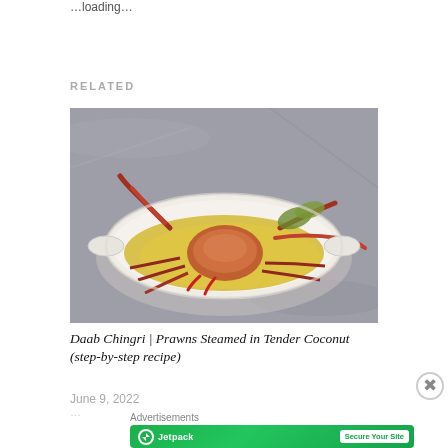…loading…
RELATED
[Figure (photo): A white oval baking dish containing crabs cooked in a yellow curry/coconut sauce, photographed on a grey marble surface]
Daab Chingri | Prawns Steamed in Tender Coconut (step-by-step recipe)
June 9, 2022
Advertisements
[Figure (logo): Jetpack advertisement banner with green background, Jetpack logo on left and 'Secure Your Site' button on right]